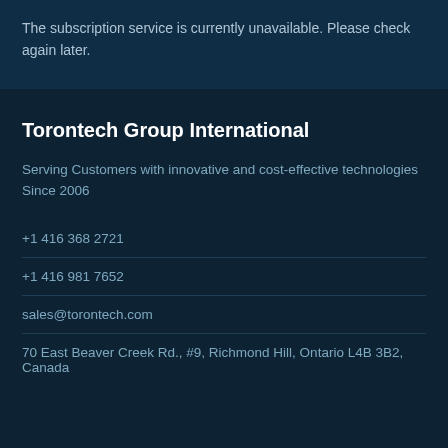The subscription service is currently unavailable. Please check again later.
Torontech Group International
Serving Customers with innovative and cost-effective technologies Since 2006
+1 416 368 2721
+1 416 981 7652
sales@torontech.com
70 East Beaver Creek Rd., #9, Richmond Hill, Ontario L4B 3B2, Canada